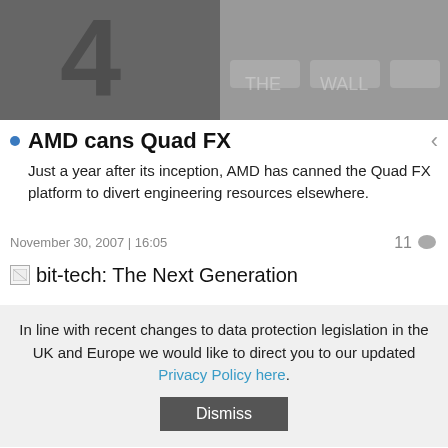[Figure (photo): Grayscale blurry image showing a processor or hardware component with a large '4' visible]
AMD cans Quad FX
Just a year after its inception, AMD has canned the Quad FX platform to divert engineering resources elsewhere.
November 30, 2007 | 16:05   11
bit-tech: The Next Generation
In line with recent changes to data protection legislation in the UK and Europe we would like to direct you to our updated Privacy Policy here.
Dismiss